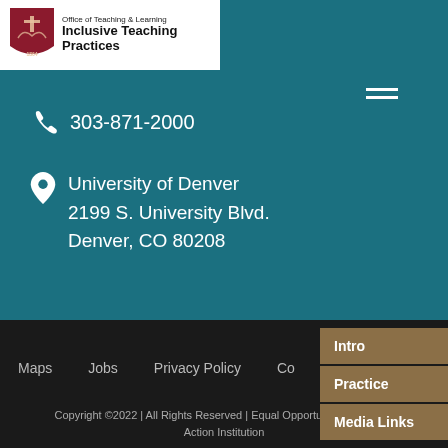[Figure (logo): University of Denver shield logo in crimson and white]
Office of Teaching & Learning Inclusive Teaching Practices
303-871-2000
University of Denver
2199 S. University Blvd.
Denver, CO 80208
Maps
Jobs
Privacy Policy
Co...
Intro
Practice
Media Links
Copyright ©2022 | All Rights Reserved | Equal Opportunity Affirmative Action Institution